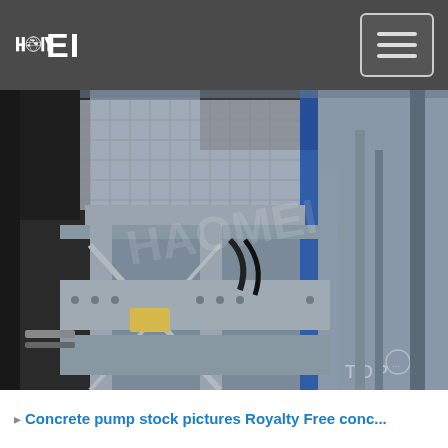HAOMEI
[Figure (photo): Industrial concrete pump machinery - large grey steel frame structure with hydraulic components, cables, scaffold mesh, photographed from below looking upward. HAOMEI watermark visible. 'TOP' text visible in bottom right corner.]
Concrete pump stock pictures Royalty Free conc...